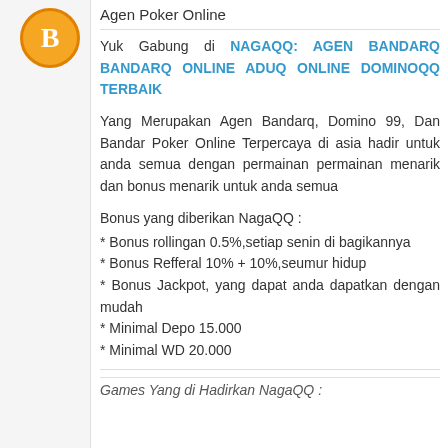[Figure (logo): Orange circle with letter B (Blogger logo)]
Agen Poker Online
Yuk Gabung di NAGAQQ: AGEN BANDARQ BANDARQ ONLINE ADUQ ONLINE DOMINOQQ TERBAIK
Yang Merupakan Agen Bandarq, Domino 99, Dan Bandar Poker Online Terpercaya di asia hadir untuk anda semua dengan permainan permainan menarik dan bonus menarik untuk anda semua
Bonus yang diberikan NagaQQ :
* Bonus rollingan 0.5%,setiap senin di bagikannya
* Bonus Refferal 10% + 10%,seumur hidup
* Bonus Jackpot, yang dapat anda dapatkan dengan mudah
* Minimal Depo 15.000
* Minimal WD 20.000
Games Yang di Hadirkan NagaQQ :